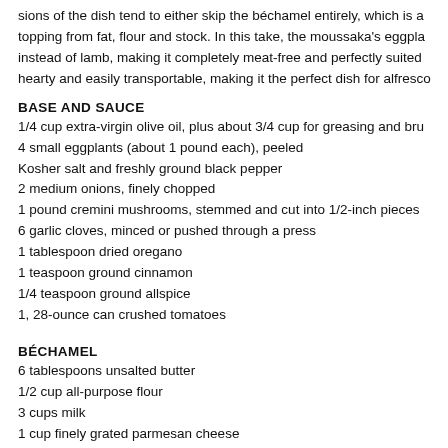sions of the dish tend to either skip the béchamel entirely, which is a topping from fat, flour and stock. In this take, the moussaka's eggpla instead of lamb, making it completely meat-free and perfectly suited hearty and easily transportable, making it the perfect dish for alfresco
BASE AND SAUCE
1/4 cup extra-virgin olive oil, plus about 3/4 cup for greasing and bru
4 small eggplants (about 1 pound each), peeled
Kosher salt and freshly ground black pepper
2 medium onions, finely chopped
1 pound cremini mushrooms, stemmed and cut into 1/2-inch pieces
6 garlic cloves, minced or pushed through a press
1 tablespoon dried oregano
1 teaspoon ground cinnamon
1/4 teaspoon ground allspice
1, 28-ounce can crushed tomatoes
BÉCHAMEL
6 tablespoons unsalted butter
1/2 cup all-purpose flour
3 cups milk
1 cup finely grated parmesan cheese
Kosher salt and freshly ground black pepper
3 egg yolks